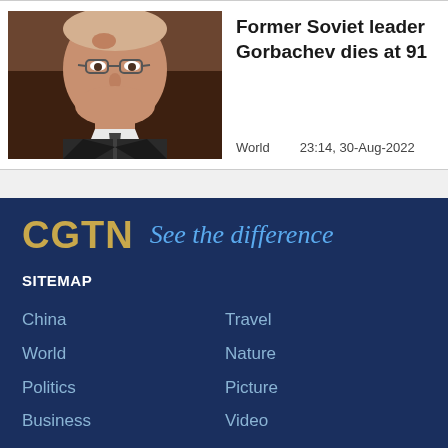[Figure (photo): Photo of former Soviet leader Mikhail Gorbachev, an elderly man with glasses, wearing a dark suit and tie, against a brown background.]
Former Soviet leader Gorbachev dies at 91
World    23:14, 30-Aug-2022
[Figure (logo): CGTN logo with text 'See the difference' tagline]
SITEMAP
China
Travel
World
Nature
Politics
Picture
Business
Video
Opinions
Specials
Tech & Sci
Live